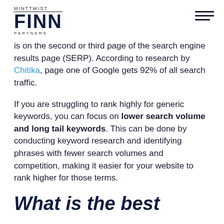MINTTWIST FINN PARTNERS
is on the second or third page of the search engine results page (SERP). According to research by Chitika, page one of Google gets 92% of all search traffic.
If you are struggling to rank highly for generic keywords, you can focus on lower search volume and long tail keywords. This can be done by conducting keyword research and identifying phrases with fewer search volumes and competition, making it easier for your website to rank higher for those terms.
What is the best